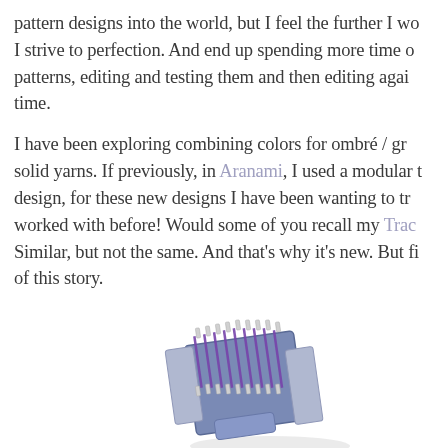pattern designs into the world, but I feel the further I wo… I strive to perfection. And end up spending more time o… patterns, editing and testing them and then editing agai… time.
I have been exploring combining colors for ombré / gr… solid yarns. If previously, in Aranami, I used a modular t… design, for these new designs I have been wanting to tr… worked with before! Would some of you recall my Trac… Similar, but not the same. And that's why it's new. But fi… of this story.
[Figure (photo): A knitting or weaving loom/frame tool with purple yarn wound around it, shown at an angle. The object is blue/grey in color with metallic pegs and purple thread.]